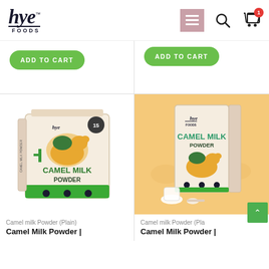[Figure (logo): Hye Foods logo with stylized italic 'hye' text and 'FOODS' subtitle]
[Figure (screenshot): Navigation header with hamburger menu button (pink/mauve), search icon, and shopping cart icon with badge showing 1 item]
[Figure (screenshot): Two partial product cards from previous row, each with green 'ADD TO CART' buttons]
[Figure (photo): Hye Foods Camel Milk Powder box product photo on white background - 15 sachets box]
[Figure (photo): Hye Foods Camel Milk Powder single box product photo on beige/orange background]
Camel milk Powder (Plain)
Camel Milk Powder |
Camel milk Powder (Pla
Camel Milk Powder |